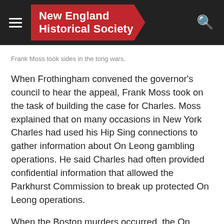New England Historical Society
Frank Moss took sides in the tong wars.
When Frothingham convened the governor's council to hear the appeal, Frank Moss took on the task of building the case for Charles. Moss explained that on many occasions in New York Charles had used his Hip Sing connections to gather information about On Leong gambling operations. He said Charles had often provided confidential information that allowed the Parkhurst Commission to break up protected On Leong operations.
When the Boston murders occurred, the On Leong saw a chance to implicate Charles in the tong wars. Working